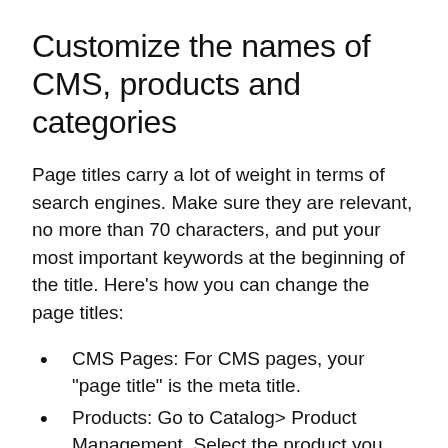Customize the names of CMS, products and categories
Page titles carry a lot of weight in terms of search engines. Make sure they are relevant, no more than 70 characters, and put your most important keywords at the beginning of the title. Here’s how you can change the page titles:
CMS Pages: For CMS pages, your “page title” is the meta title.
Products: Go to Catalog> Product Management. Select the product you